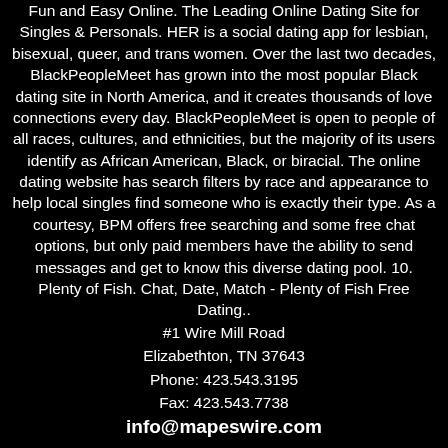Fun and Easy Online. The Leading Online Dating Site for Singles & Personals. HER is a social dating app for lesbian, bisexual, queer, and trans women. Over the last two decades, BlackPeopleMeet has grown into the most popular Black dating site in North America, and it creates thousands of love connections every day. BlackPeopleMeet is open to people of all races, cultures, and ethnicities, but the majority of its users identify as African American, Black, or biracial. The online dating website has search filters by race and appearance to help local singles find someone who is exactly their type. As a courtesy, BPM offers free searching and some free chat options, but only paid members have the ability to send messages and get to know this diverse dating pool. 10. Plenty of Fish. Chat, Date, Match - Plenty of Fish Free Dating..
#1 Wire Mill Road
Elizabethton, TN 37643
Phone: 423.543.3195
Fax: 423.543.7738
info@mapeswire.com